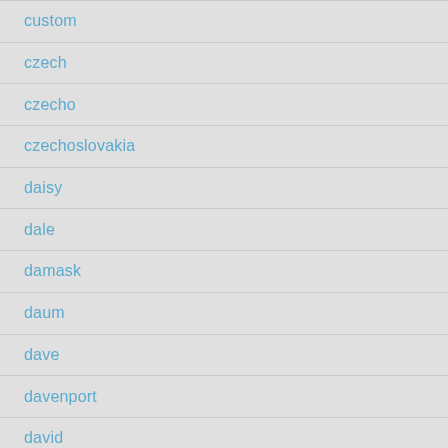custom
czech
czecho
czechoslovakia
daisy
dale
damask
daum
dave
davenport
david
deco